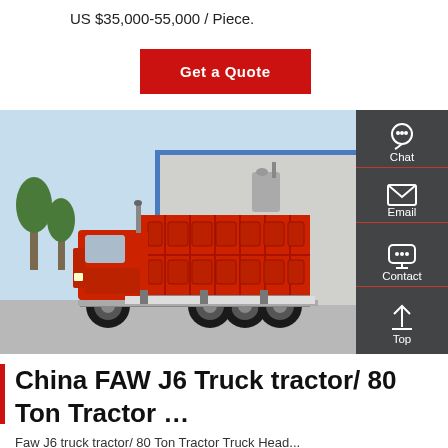US $35,000-55,000 / Piece.
Get a Quote
[Figure (photo): Side-view photo of a red FAW J6 dump truck parked outdoors with a large red dump body and building in background. A dark sidebar panel is overlaid on the right with Chat, Email, Contact, and Top buttons.]
China FAW J6 Truck tractor/ 80 Ton Tractor ...
Faw J6 truck tractor/ 80 Ton Tractor Truck Head...